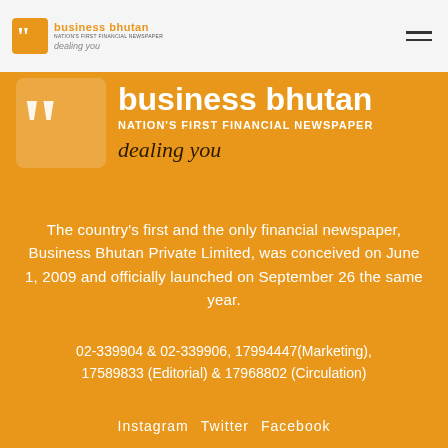[Figure (logo): Business Bhutan logo in top white bar with orange quotation-mark icon, text 'business bhutan', tagline 'NATION'S FIRST FINANCIAL NEWSPAPER', and italic 'dealing you']
[Figure (logo): Large Business Bhutan logo on orange background: big white quotation-mark icon, large white text 'business bhutan', 'NATION'S FIRST FINANCIAL NEWSPAPER', and italic dark 'dealing you']
The country's first and the only financial newspaper, Business Bhutan Private Limited, was conceived on June 1, 2009 and officially launched on September 26 the same year.
02-339904 & 02-339906, 17994447(Marketing), 17589833 (Editorial) & 17968802 (Circulation)
Instagram  Twitter  Facebook